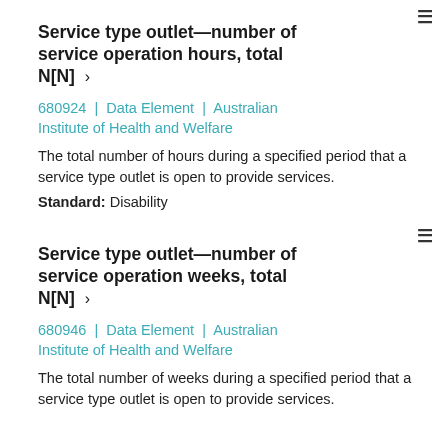Service type outlet—number of service operation hours, total N[N] >
680924 | Data Element | Australian Institute of Health and Welfare
The total number of hours during a specified period that a service type outlet is open to provide services.
Standard: Disability
Service type outlet—number of service operation weeks, total N[N] >
680946 | Data Element | Australian Institute of Health and Welfare
The total number of weeks during a specified period that a service type outlet is open to provide services.